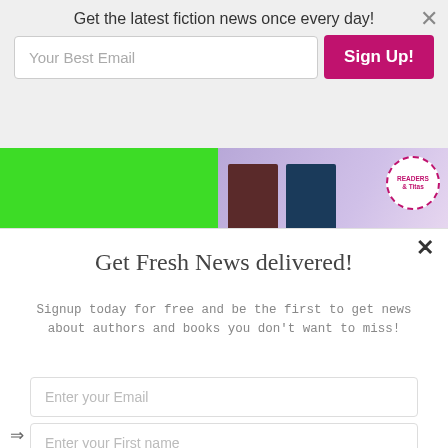Get the latest fiction news once every day!
[Figure (screenshot): Email signup form with input field labeled 'Your Best Email' and a pink 'Sign Up!' button, with a close X button]
[Figure (screenshot): Green background navigation section with Services and SPECIALS column headers and pink navigation links: Services, Advertising, FAQ, Privacy Policy on left; Advertis..., Advertis..., Fresh Ac... on right. Book cover images and Readers & Titas badge in top right.]
Services
Services
Advertising
FAQ
Privacy Policy
SPECIALS
Advertis...
Advertis...
Fresh Ac...
Get Fresh News delivered!
Signup today for free and be the first to get news about authors and books you don't want to miss!
Enter your Email
Enter your First name